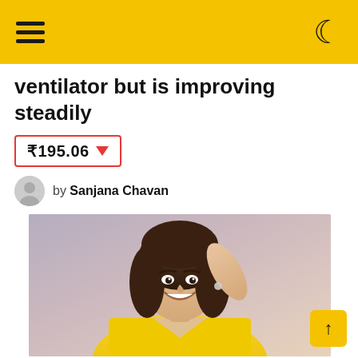Navigation header with hamburger menu and dark mode toggle
ventilator but is improving steadily
₹195.06 ▼
by Sanjana Chavan
[Figure (photo): Woman smiling in a yellow outfit with a choker necklace, hand raised near her ear, against a grey-pink background.]